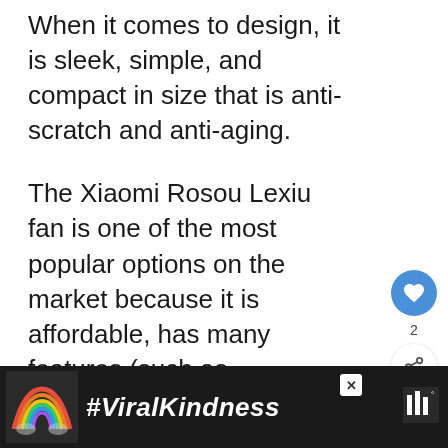When it comes to design, it is sleek, simple, and compact in size that is anti-scratch and anti-aging.
The Xiaomi Rosou Lexiu fan is one of the most popular options on the market because it is affordable, has many features (such as adjustable speeds & leafless safety design), and lightweight (just 2.4kg).
[Figure (screenshot): UI overlay with heart/like button showing count of 2, and a share button]
[Figure (screenshot): What's Next widget showing thumbnail of tower fan with label 'WHAT'S NEXT → Best Tower Fan in...']
[Figure (screenshot): Advertisement banner with dark background showing '#ViralKindness' text with rainbow illustration and close button]